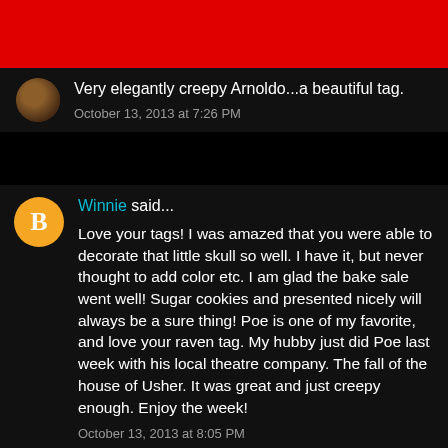[Figure (other): Red banner bar at top of page]
Very elegantly creepy Arnoldo...a beautiful tag.
October 13, 2013 at 7:26 PM
Winnie said...
Love your tags! I was amazed that you were able to decorate that little skull so well. I have it, but never thought to add color etc. I am glad the bake sale went well! Sugar cookies and presented nicely will always be a sure thing! Poe is one of my favorite, and love your raven tag. My hubby just did Poe last week with his local theatre company. The fall of the house of Usher. It was great and just creepy enough. Enjoy the week!
October 13, 2013 at 8:05 PM